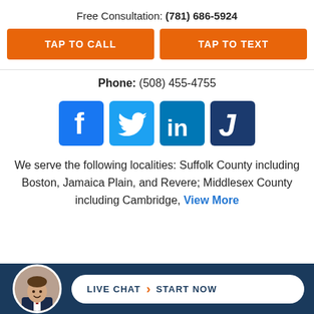Free Consultation: (781) 686-5924
TAP TO CALL
TAP TO TEXT
Phone: (508) 455-4755
[Figure (infographic): Four social media icons in a row: Facebook (dark blue), Twitter (light blue), LinkedIn (medium blue), Justia (dark navy blue)]
We serve the following localities: Suffolk County including Boston, Jamaica Plain, and Revere; Middlesex County including Cambridge, View More
[Figure (infographic): Dark navy bottom bar with circular avatar photo of a man in a suit on the left and a white pill-shaped Live Chat > Start Now button on the right]